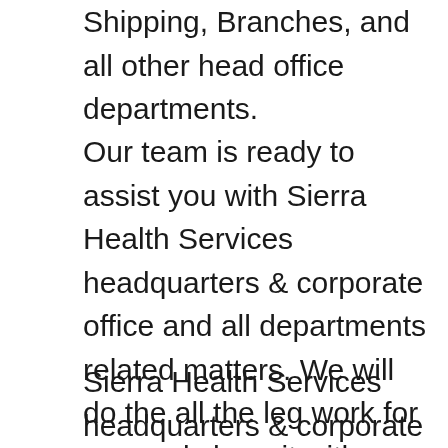Shipping, Branches, and all other head office departments.
Our team is ready to assist you with Sierra Health Services headquarters & corporate office and all departments related matters. We will do the all the leg work for you and share it with you (free service). Please communicate with us by using the contact us page or the comments form below in this page.
Sierra Health Services headquarters & corporate office phone number that is provided on this page is free. Please note